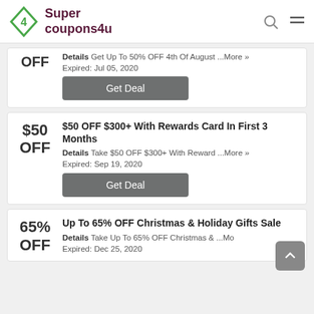Super coupons4u
OFF — Details Get Up To 50% OFF 4th Of August ...More »
Expired: Jul 05, 2020
[Get Deal button]
$50 OFF — $50 OFF $300+ With Rewards Card In First 3 Months
Details Take $50 OFF $300+ With Reward ...More »
Expired: Sep 19, 2020
[Get Deal button]
65% OFF — Up To 65% OFF Christmas & Holiday Gifts Sale
Details Take Up To 65% OFF Christmas & ...Mo
Expired: Dec 25, 2020